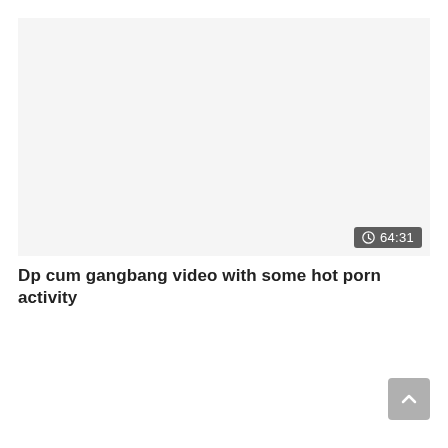[Figure (screenshot): Video thumbnail area (blank/white) with a duration badge showing a clock icon and '64:31' in the bottom-right corner.]
Dp cum gangbang video with some hot porn activity